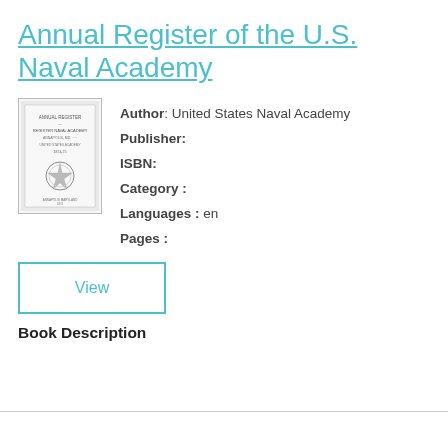Annual Register of the U.S. Naval Academy
[Figure (illustration): Thumbnail of book cover for Annual Register of the U.S. Naval Academy, showing title text and a decorative seal/emblem at the bottom center.]
Author: United States Naval Academy
Publisher:
ISBN:
Category :
Languages : en
Pages :
View
Book Description